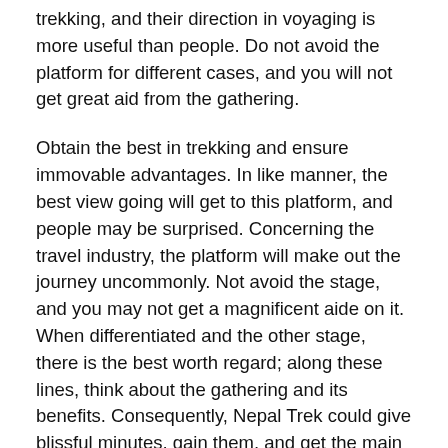trekking, and their direction in voyaging is more useful than people. Do not avoid the platform for different cases, and you will not get great aid from the gathering.
Obtain the best in trekking and ensure immovable advantages. In like manner, the best view going will get to this platform, and people may be surprised. Concerning the travel industry, the platform will make out the journey uncommonly. Not avoid the stage, and you may not get a magnificent aide on it. When differentiated and the other stage, there is the best worth regard; along these lines, think about the gathering and its benefits. Consequently, Nepal Trek could give blissful minutes, gain them, and get the main advantages.
Recommended platform:
The stunning view is the ideal area for people to procure it and get the various advantages. While picking this